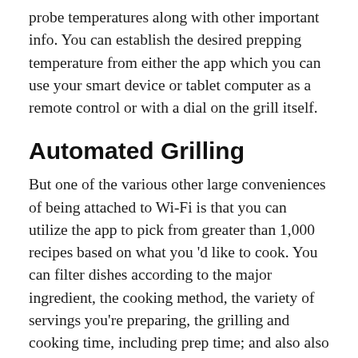probe temperatures along with other important info. You can establish the desired prepping temperature from either the app which you can use your smart device or tablet computer as a remote control or with a dial on the grill itself.
Automated Grilling
But one of the various other large conveniences of being attached to Wi-Fi is that you can utilize the app to pick from greater than 1,000 recipes based on what you 'd like to cook. You can filter dishes according to the major ingredient, the cooking method, the variety of servings you're preparing, the grilling and cooking time, including prep time; and also also by the pellet fuel you have on hand or the hardwood taste you're seeking to present to the food.